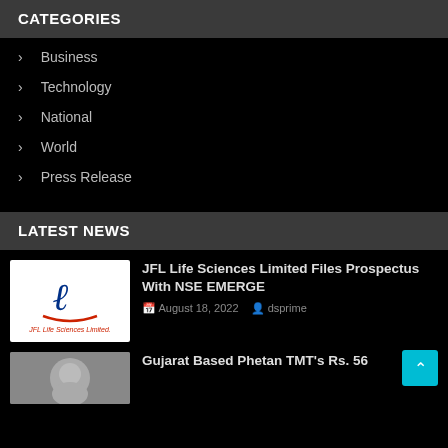CATEGORIES
Business
Technology
National
World
Press Release
LATEST NEWS
JFL Life Sciences Limited Files Prospectus With NSE EMERGE
August 18, 2022   dsprime
Gujarat Based Phetan TMT's Rs. 56